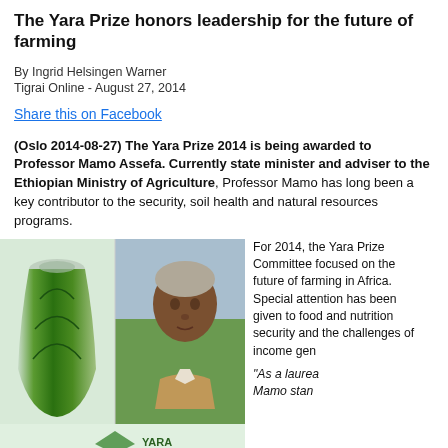The Yara Prize honors leadership for the future of farming
By Ingrid Helsingen Warner
Tigrai Online - August 27, 2014
Share this on Facebook
(Oslo 2014-08-27) The Yara Prize 2014 is being awarded to Professor Mamo Assefa. Currently state minister and adviser to the Ethiopian Ministry of Agriculture, Professor Mamo has long been a key contributor to the security, soil health and natural resources programs.
[Figure (photo): Photo collage: green glass vase trophy on left, portrait of Professor Mamo Assefa (older African man with grey hair, wearing beige jacket) on right, green fields in background, Yara logo strip at bottom]
For 2014, the Yara Prize Committee focused on the future of farming in Africa. Special attention has been given to food and nutrition security and the challenges of income gen...
"As a laureate..." Mamo stan...